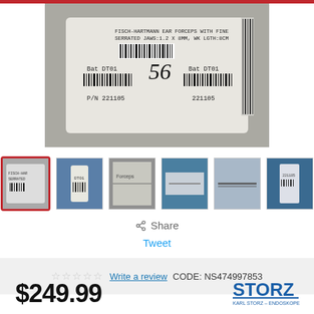[Figure (photo): Medical instrument label showing FISCH-HARTMANN EAR FORCEPS WITH FINE SERRATED JAWS:1.2 X 8MM, WK LGTH:8CM, with barcodes, Bat DT01, P/N 221105, and handwritten number 56]
[Figure (photo): Thumbnail row of 6 product images for Fisch-Hartmann ear forceps; first thumbnail is active/selected with red border]
Share
Tweet
☆☆☆☆☆ Write a review   CODE: NS474997853
$249.99
[Figure (logo): STORZ / KARL STORZ - ENDOSKOPE logo]